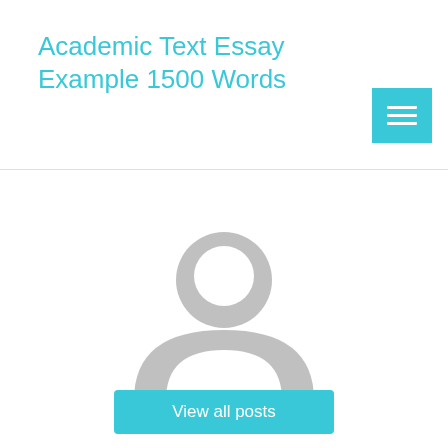Academic Text Essay Example 1500 Words
[Figure (illustration): Generic user avatar placeholder: grey circle silhouette with head and shoulders]
View all posts